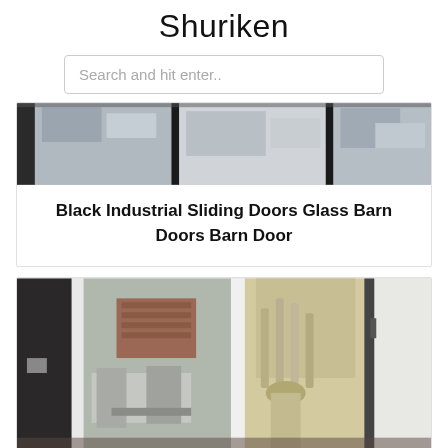Shuriken
Search and hit enter..
[Figure (photo): Black industrial sliding glass barn doors in an interior room setting]
Black Industrial Sliding Doors Glass Barn Doors Barn Door
[Figure (photo): Glass veranda or patio sliding doors with a view to an outdoor area, brick wall and curtain visible]
Bois Vitree Et Veranda Assistances Danonnage Rapide...